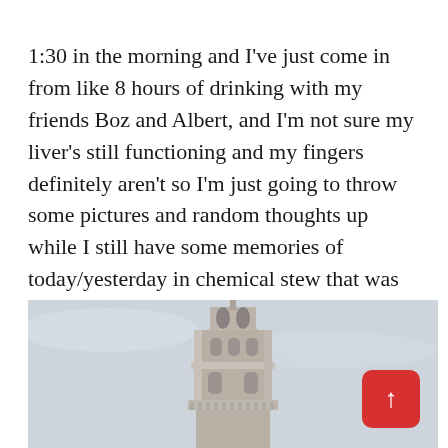1:30 in the morning and I've just come in from like 8 hours of drinking with my friends Boz and Albert, and I'm not sure my liver's still functioning and my fingers definitely aren't so I'm just going to throw some pictures and random thoughts up while I still have some memories of today/yesterday in chemical stew that was my brain.
Started off the day walking to Clerkenwell then walked back via a circuitous route that took me past many cool and various things. Pictures.
[Figure (photo): Partial view of a stone church spire or tower against an overcast grey sky, with a red scroll-to-top button overlay in the bottom right corner.]